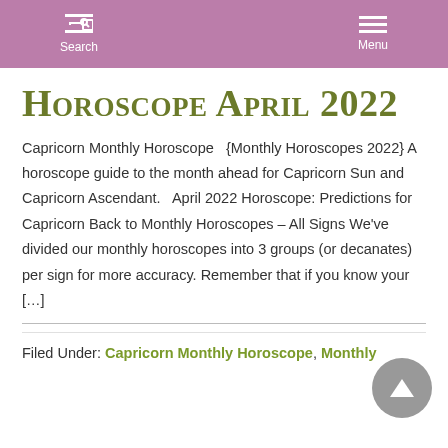Search  Menu
Horoscope April 2022
Capricorn Monthly Horoscope   {Monthly Horoscopes 2022} A horoscope guide to the month ahead for Capricorn Sun and Capricorn Ascendant.   April 2022 Horoscope: Predictions for Capricorn Back to Monthly Horoscopes – All Signs We've divided our monthly horoscopes into 3 groups (or decanates) per sign for more accuracy. Remember that if you know your […]
Filed Under: Capricorn Monthly Horoscope, Monthly